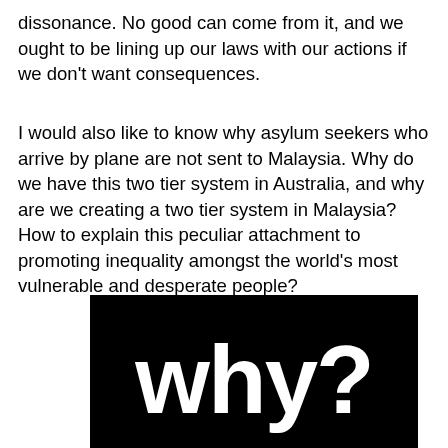dissonance. No good can come from it, and we ought to be lining up our laws with our actions if we don't want consequences.
I would also like to know why asylum seekers who arrive by plane are not sent to Malaysia. Why do we have this two tier system in Australia, and why are we creating a two tier system in Malaysia? How to explain this peculiar attachment to promoting inequality amongst the world's most vulnerable and desperate people?
[Figure (illustration): Black background image with large bold white text reading 'why?' in a rounded, retro-style font.]